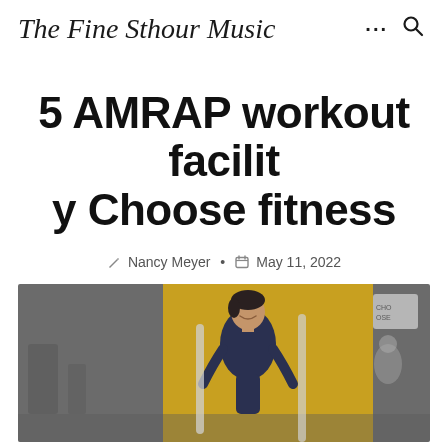The Fine Sthour Music
5 AMRAP workout facility Choose fitness
Nancy Meyer • May 11, 2022
[Figure (photo): A woman with short dark hair laughing/smiling, photographed in a fitness facility with a yellow wall in the background. She appears to be in workout attire.]